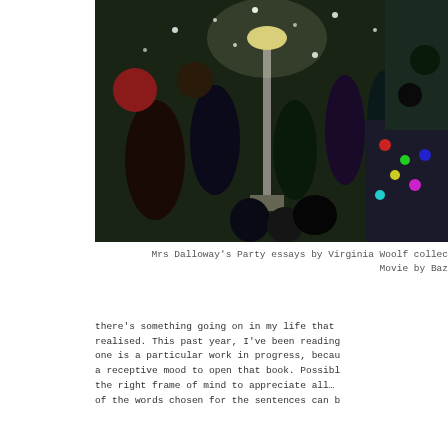[Figure (photo): A crowded party scene with people in formal attire, confetti falling, bright lights and festive atmosphere, resembling a Great Gatsby-era or 1920s party scene.]
Mrs Dalloway's Party essays by Virginia Woolf collec
Movie by Baz
there's something going on in my life that
realised. This past year, I've been reading
one is a particular work in progress, becau
a receptive mood to open that book. Possibl
the right frame of mind to appreciate all…
of the words chosen for the sentences can b